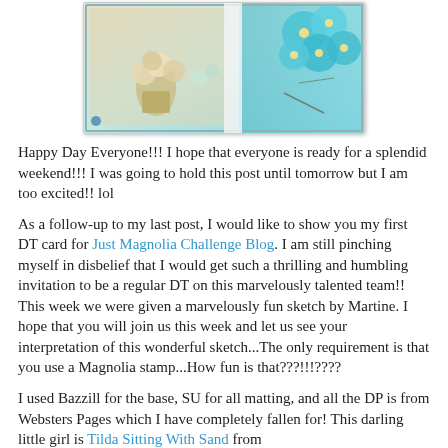[Figure (photo): A handmade greeting card featuring teal/blue flowers, a floral bouquet in a vase on vintage patterned paper, with lace and decorative embellishments, shown against a white background.]
Happy Day Everyone!!! I hope that everyone is ready for a splendid weekend!!! I was going to hold this post until tomorrow but I am too excited!! lol
As a follow-up to my last post, I would like to show you my first DT card for Just Magnolia Challenge Blog. I am still pinching myself in disbelief that I would get such a thrilling and humbling invitation to be a regular DT on this marvelously talented team!! This week we were given a marvelously fun sketch by Martine. I hope that you will join us this week and let us see your interpretation of this wonderful sketch...The only requirement is that you use a Magnolia stamp...How fun is that???!!!????
I used Bazzill for the base, SU for all matting, and all the DP is from Websters Pages which I have completely fallen for! This darling little girl is Tilda Sitting With Sand from